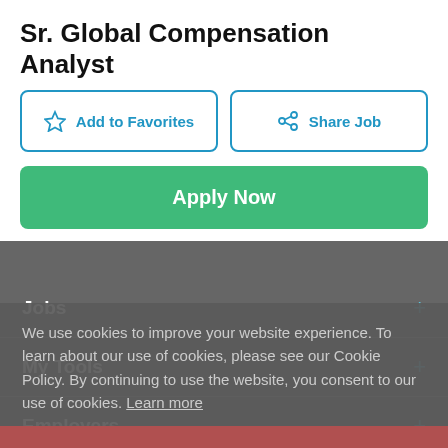Sr. Global Compensation Analyst
Add to Favorites
Share Job
Apply Now
Jobs
My Tools
Employers
We use cookies to improve your website experience. To learn about our use of cookies, please see our Cookie Policy. By continuing to use the website, you consent to our use of cookies. Learn more
Got it!